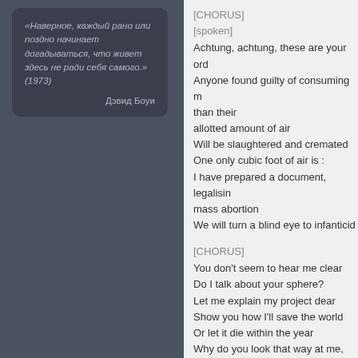"Наверное, каждый рано или поздно начинает догадываться, что живет здесь не ради себя самого." (1973)

Дэвид Боуи
[CHORUS]
[spoken]
Achtung, achtung, these are your ord
Anyone found guilty of consuming m than their
allotted amount of air
Will be slaughtered and cremated
One only cubic foot of air is :
I have prepared a document, legalisin mass abortion
We will turn a blind eye to infanticid

[CHORUS]
You don't seem to hear me clear
Do I talk about your sphere?
Let me explain my project dear
Show you how I'll save the world
Or let it die within the year
Why do you look that way at me, you messiah

[CHORUS]
We are hungry men
We don't give a damn for what you're saying
We're here to get you